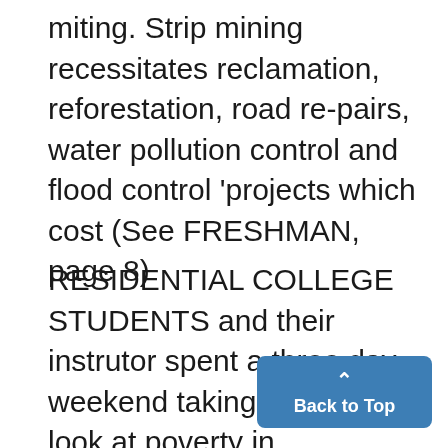miting. Strip mining recessitates reclamation, reforestation, road repairs, water pollution control and flood control 'projects which cost (See FRESHMAN, page 8)
RESIDENTIAL COLLEGE STUDENTS and their instrutor spent a three day weekend taking a close look at poverty in Appalachia. The area they visited, in Eastern Kentucky, contains ten of the nation's twenty most impoverished The trip related to course work